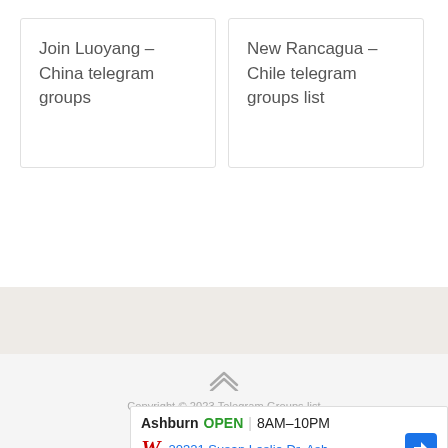Join Luoyang – China telegram groups
New Rancagua – Chile telegram groups list
[Figure (screenshot): Advertisement banner: Walgreens ad showing Ashburn store open 8AM-10PM at 20321 Susan Leslie Dr with navigation arrow button]
Ashburn  OPEN  8AM–10PM  20321 Susan Leslie Dr, Ash...